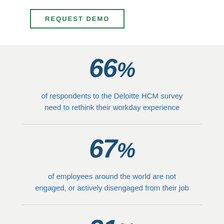REQUEST DEMO
66% of respondents to the Deloitte HCM survey need to rethink their workday experience
67% of employees around the world are not engaged, or actively disengaged from their job
31%